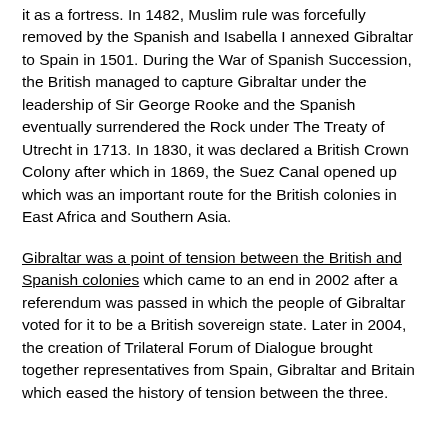it as a fortress. In 1482, Muslim rule was forcefully removed by the Spanish and Isabella I annexed Gibraltar to Spain in 1501. During the War of Spanish Succession, the British managed to capture Gibraltar under the leadership of Sir George Rooke and the Spanish eventually surrendered the Rock under The Treaty of Utrecht in 1713. In 1830, it was declared a British Crown Colony after which in 1869, the Suez Canal opened up which was an important route for the British colonies in East Africa and Southern Asia.
Gibraltar was a point of tension between the British and Spanish colonies which came to an end in 2002 after a referendum was passed in which the people of Gibraltar voted for it to be a British sovereign state. Later in 2004, the creation of Trilateral Forum of Dialogue brought together representatives from Spain, Gibraltar and Britain which eased the history of tension between the three.